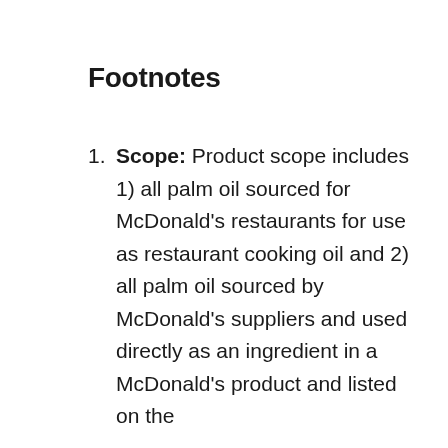Footnotes
Scope: Product scope includes 1) all palm oil sourced for McDonald’s restaurants for use as restaurant cooking oil and 2) all palm oil sourced by McDonald’s suppliers and used directly as an ingredient in a McDonald’s product and listed on the